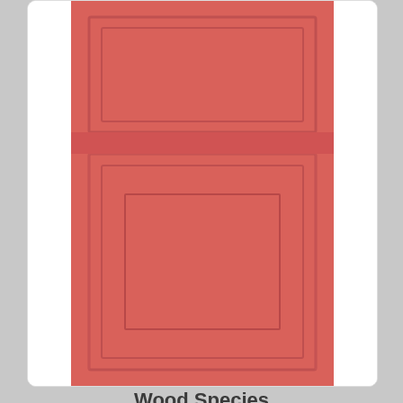[Figure (photo): Pink/coral painted cabinet door panel showing flat-panel style with rectangular raised frame details, top portion of door]
Wood Species
[Figure (photo): Wood grain cabinet door panel showing raised panel style in medium brown/cherry wood finish, bottom portion of door]